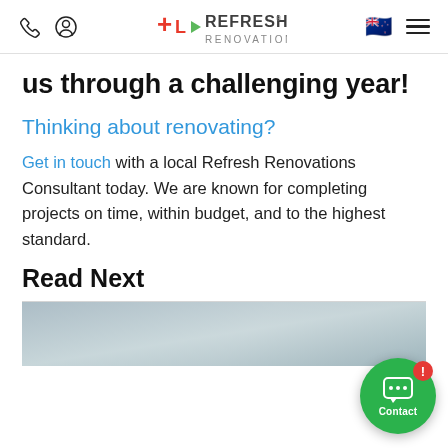Refresh Renovations [navigation bar with phone, user, NZ flag, and menu icons]
us through a challenging year!
Thinking about renovating?
Get in touch with a local Refresh Renovations Consultant today. We are known for completing projects on time, within budget, and to the highest standard.
Read Next
[Figure (photo): Blurred interior/bathroom photo at the bottom of the page]
[Figure (other): Green circular Contact chat button with chat bubble icon and red notification badge]